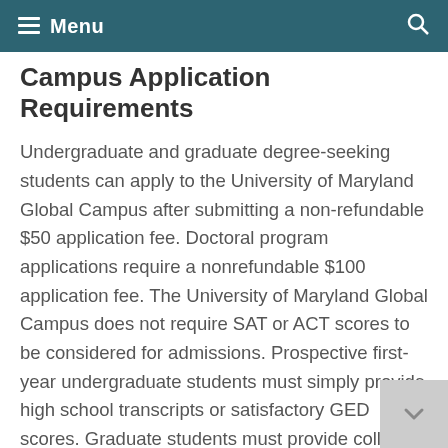Menu
Campus Application Requirements
Undergraduate and graduate degree-seeking students can apply to the University of Maryland Global Campus after submitting a non-refundable $50 application fee. Doctoral program applications require a nonrefundable $100 application fee. The University of Maryland Global Campus does not require SAT or ACT scores to be considered for admissions. Prospective first-year undergraduate students must simply provide high school transcripts or satisfactory GED scores. Graduate students must provide college transcripts or proof of having 24 completed semester hours of college credit that is transferable. Students who have graduated from any U.S. higher education facility are automatically eligible for admission. For students who have not